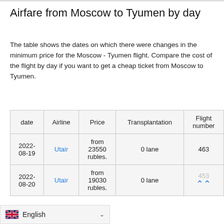Airfare from Moscow to Tyumen by day
The table shows the dates on which there were changes in the minimum price for the Moscow - Tyumen flight. Compare the cost of the flight by day if you want to get a cheap ticket from Moscow to Tyumen.
| date | Airline | Price | Transplantation | Flight number |
| --- | --- | --- | --- | --- |
| 2022-08-19 | Utair | from 23550 rubles. | 0 lane | 463 |
| 2022-08-20 | Utair | from 19030 rubles. | 0 lane | 453 |